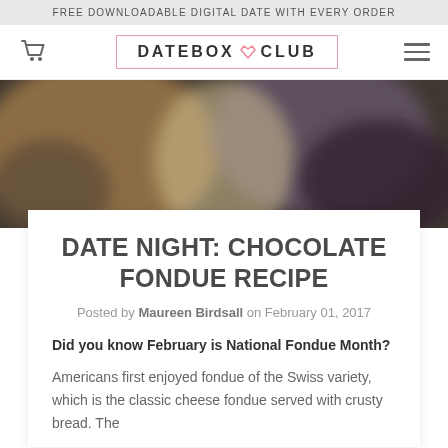FREE DOWNLOADABLE DIGITAL DATE WITH EVERY ORDER
[Figure (logo): DateBox Club logo with cart icon and hamburger menu]
[Figure (photo): Blurred hero image with warm brown, purple, and cream tones]
DATE NIGHT: CHOCOLATE FONDUE RECIPE
Posted by Maureen Birdsall on February 01, 2017
Did you know February is National Fondue Month?
Americans first enjoyed fondue of the Swiss variety, which is the classic cheese fondue served with crusty bread. The